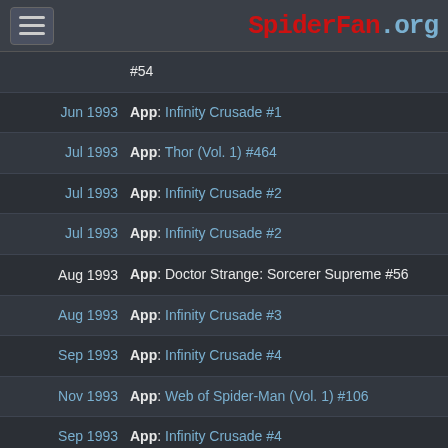SpiderFan.org
#54
Jun 1993  App: Infinity Crusade #1
Jul 1993  App: Thor (Vol. 1) #464
Jul 1993  App: Infinity Crusade #2
Jul 1993  App: Infinity Crusade #2
Aug 1993  App: Doctor Strange: Sorcerer Supreme #56
Aug 1993  App: Infinity Crusade #3
Sep 1993  App: Infinity Crusade #4
Nov 1993  App: Web of Spider-Man (Vol. 1) #106
Sep 1993  App: Infinity Crusade #4
Oct 1993  App: Infinity Crusade #5
Dec 1993  App: Alpha Flight #127
Nov 1993  App: Infinity Crusade #6